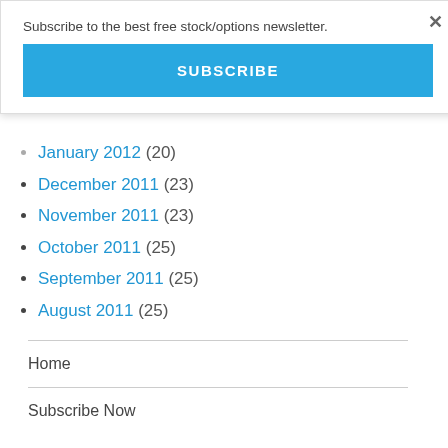Subscribe to the best free stock/options newsletter.
SUBSCRIBE
×
January 2012 (20)
December 2011 (23)
November 2011 (23)
October 2011 (25)
September 2011 (25)
August 2011 (25)
Home
Subscribe Now